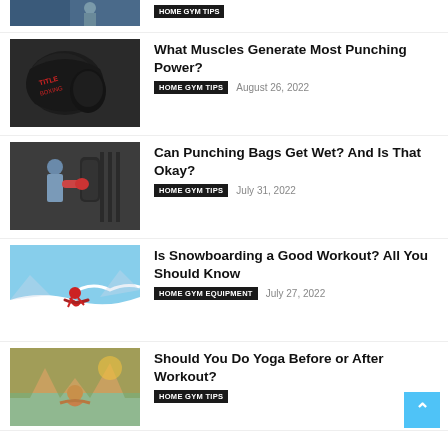[Figure (photo): Partial view of a person running or exercising, cropped at top]
[Figure (photo): Boxing gloves close-up with red and black design]
What Muscles Generate Most Punching Power?
HOME GYM TIPS   August 26, 2022
[Figure (photo): Person punching a boxing bag in a gym]
Can Punching Bags Get Wet? And Is That Okay?
HOME GYM TIPS   July 31, 2022
[Figure (photo): Snowboarder carving down a snowy slope in red outfit]
Is Snowboarding a Good Workout? All You Should Know
HOME GYM EQUIPMENT   July 27, 2022
[Figure (photo): Person doing yoga outdoors with trees in background]
Should You Do Yoga Before or After Workout?